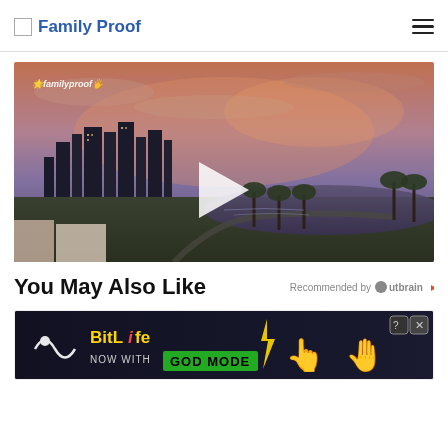Family Proof
[Figure (screenshot): Video thumbnail of Los Angeles city skyline at sunset with a lake in the foreground, palm trees, and a play button overlay. FamilyProof logo watermark in top-left corner.]
You May Also Like
Recommended by Outbrain
[Figure (screenshot): BitLife advertisement banner: 'BitLife - Now with GOD MODE' with emoji hand and pointing finger graphics, close button in top right.]